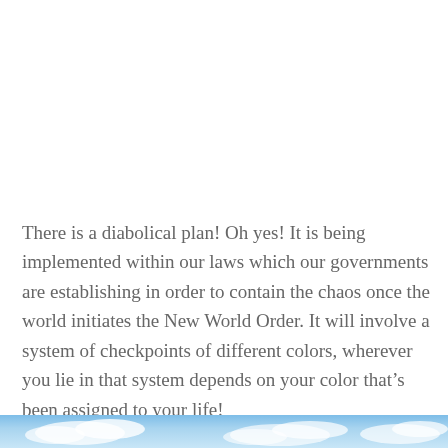There is a diabolical plan! Oh yes! It is being implemented within our laws which our governments are establishing in order to contain the chaos once the world initiates the New World Order. It will involve a system of checkpoints of different colors, wherever you lie in that system depends on your color that’s been assigned to your life!
[Figure (photo): Partial view of a sky with clouds, cropped at bottom of page]